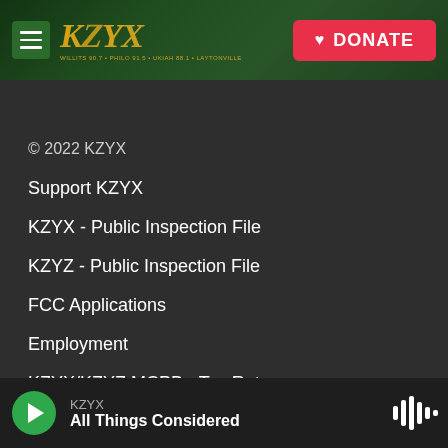KZYX — DONATE
[Figure (logo): KZYX radio station logo with hamburger menu and DONATE button on forest background header]
© 2022 KZYX
Support KZYX
KZYX - Public Inspection File
KZYZ - Public Inspection File
FCC Applications
Employment
KZYX/KZYZ MCPB - Tax Return
KZYX — All Things Considered